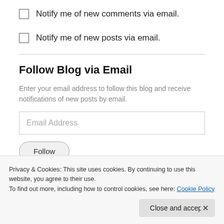Notify me of new comments via email.
Notify me of new posts via email.
Follow Blog via Email
Enter your email address to follow this blog and receive notifications of new posts by email.
Email Address
Follow
Privacy & Cookies: This site uses cookies. By continuing to use this website, you agree to their use.
To find out more, including how to control cookies, see here: Cookie Policy
Close and accept